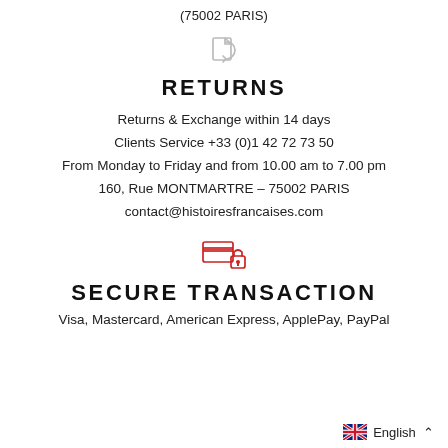(75002 PARIS)
[Figure (illustration): Returns icon: document with a curved arrow]
RETURNS
Returns & Exchange within 14 days
Clients Service +33 (0)1 42 72 73 50
From Monday to Friday and from 10.00 am to 7.00 pm
160, Rue MONTMARTRE - 75002 PARIS
contact@histoiresfrancaises.com
[Figure (illustration): Secure payment icon: credit card with a padlock]
SECURE TRANSACTION
Visa, Mastercard, American Express, ApplePay, PayPal
English